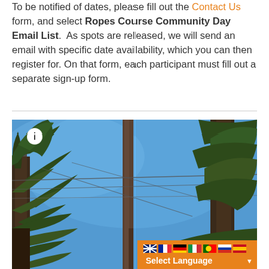To be notified of dates, please fill out the Contact Us form, and select Ropes Course Community Day Email List. As spots are released, we will send an email with specific date availability, which you can then register for. On that form, each participant must fill out a separate sign-up form.
[Figure (photo): Outdoor photo looking up through tall pine trees against a blue sky, with ropes course cables visible. A language selector bar with flags (English, French, German, Italian, Portuguese, Russian, Spanish) and 'Select Language' dropdown is overlaid in the bottom right.]